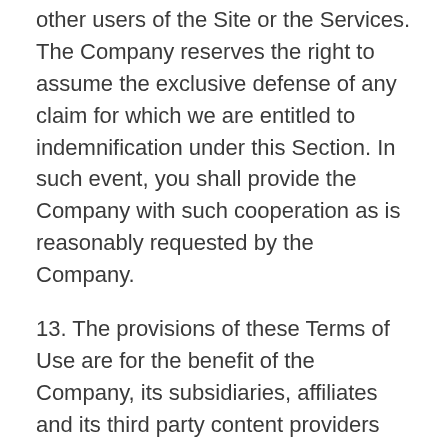other users of the Site or the Services. The Company reserves the right to assume the exclusive defense of any claim for which we are entitled to indemnification under this Section. In such event, you shall provide the Company with such cooperation as is reasonably requested by the Company.
13. The provisions of these Terms of Use are for the benefit of the Company, its subsidiaries, affiliates and its third party content providers and licensors, and each shall have the right to assert and enforce such provisions directly or on its own behalf.
14. These Terms of Use may be revised from time to time by updating this posting. You are